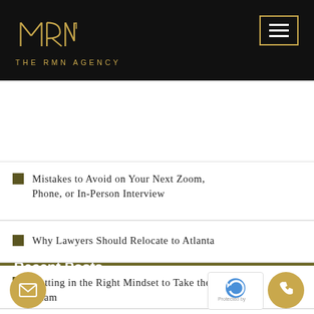[Figure (logo): The RMN Agency logo — geometric monogram in gold lines on black background with text THE RMN AGENCY below]
[Figure (screenshot): Search bar with input field and Search button]
Recent Posts
Mistakes to Avoid on Your Next Zoom, Phone, or In-Person Interview
Why Lawyers Should Relocate to Atlanta
Getting in the Right Mindset to Take the Bar Exam
ow to Get to the General Counsel Ch…